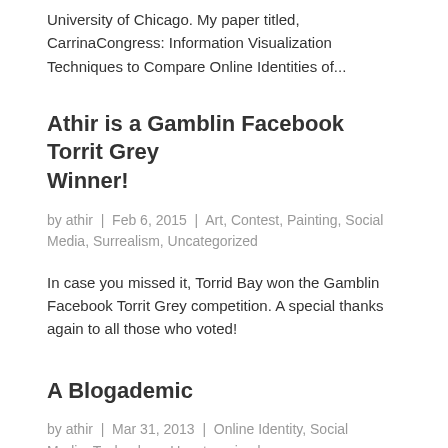University of Chicago. My paper titled, CarrinaCongress: Information Visualization Techniques to Compare Online Identities of...
Athir is a Gamblin Facebook Torrit Grey Winner!
by athir | Feb 6, 2015 | Art, Contest, Painting, Social Media, Surrealism, Uncategorized
In case you missed it, Torrid Bay won the Gamblin Facebook Torrit Grey competition. A special thanks again to all those who voted!
A Blogademic
by athir | Mar 31, 2013 | Online Identity, Social Media, Technology, Uncategorized
I have a friend who teaches at a college down in Virginia and every semester, she asks her reluctant